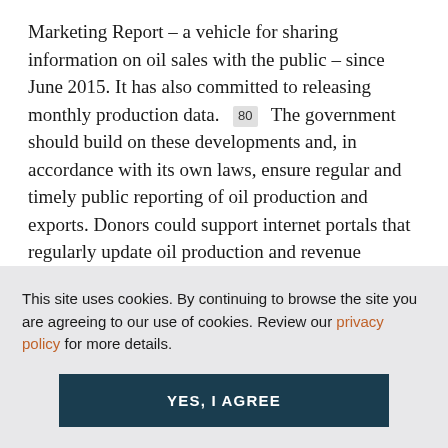Marketing Report – a vehicle for sharing information on oil sales with the public – since June 2015. It has also committed to releasing monthly production data. [80] The government should build on these developments and, in accordance with its own laws, ensure regular and timely public reporting of oil production and exports. Donors could support internet portals that regularly update oil production and revenue
This site uses cookies. By continuing to browse the site you are agreeing to our use of cookies. Review our privacy policy for more details.
YES, I AGREE